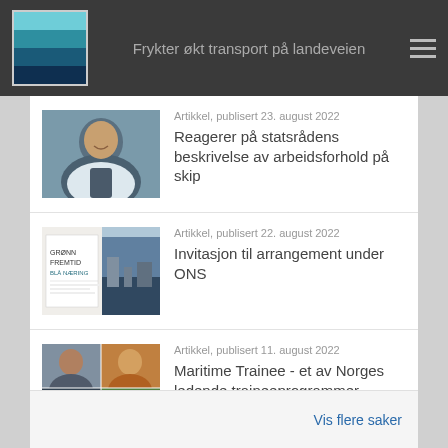Frykter økt transport på landeveien
[Figure (photo): Portrait photo of a man in a suit]
Artikkel, publisert 23. august 2022
Reagerer på statsrådens beskrivelse av arbeidsforhold på skip
[Figure (photo): Magazine/document cover with text GRØNN FREMTID BLÅ NÆRING alongside a harbour photo]
Artikkel, publisert 22. august 2022
Invitasjon til arrangement under ONS
[Figure (photo): Grid of four photos showing people and industrial/maritime settings]
Artikkel, publisert 11. august 2022
Maritime Trainee - et av Norges ledende traineeprogrammer
Vis flere saker